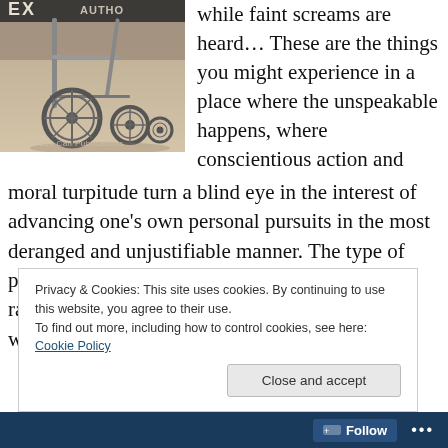[Figure (photo): Book cover image showing wheelchair wheels on a floor, with text 'Sirens Call Publications' at the bottom. Partial text visible at top reading 'EX... AUTHO...']
while faint screams are heard… These are the things you might experience in a place where the unspeakable happens, where conscientious action and moral turpitude turn a blind eye in the interest of advancing one's own personal pursuits in the most deranged and unjustifiable manner. The type of place where power corrupts, and depravity runs rampant among those imbued with it. A place where the unfortunate are
Privacy & Cookies: This site uses cookies. By continuing to use this website, you agree to their use.
To find out more, including how to control cookies, see here: Cookie Policy
Close and accept
Follow ...